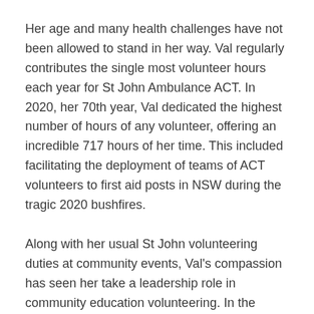Her age and many health challenges have not been allowed to stand in her way. Val regularly contributes the single most volunteer hours each year for St John Ambulance ACT. In 2020, her 70th year, Val dedicated the highest number of hours of any volunteer, offering an incredible 717 hours of her time. This included facilitating the deployment of teams of ACT volunteers to first aid posts in NSW during the tragic 2020 bushfires.
Along with her usual St John volunteering duties at community events, Val's compassion has seen her take a leadership role in community education volunteering. In the 1990s, in response to an epidemic of serious drug overdoses and heroin deaths in Canberra, Val created Project Survival, taking first aid education and messages into the places drug users frequented. It's believed many lives were saved by her actions in teaching heroin users and their friends how to look after themselves and each other. The initiative was so successful, it was adopted nationally